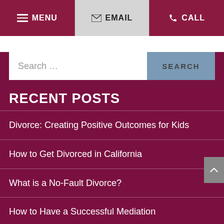MENU | EMAIL | CALL
RECENT POSTS
Divorce: Creating Positive Outcomes for Kids
How to Get Divorced in California
What is a No-Fault Divorce?
How to Have a Successful Mediation